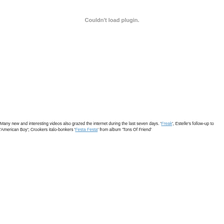Couldn't load plugin.
Many new and interesting videos also grazed the internet during the last seven days. 'Freak', Estelle’s follow-up to ‘American Boy’; Crookers italo-bonkers ‘Festa Festa’ from album ‘Tons Of Friend’